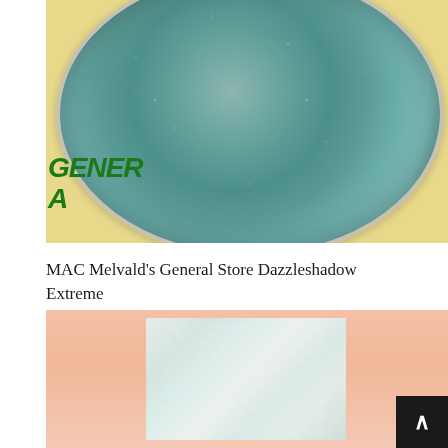[Figure (photo): Close-up photograph of a MAC Melvald's General Store Dazzleshadow Extreme eyeshadow pan. The pan contains shimmery teal/green metallic powder with sparkle. The pan sits in a cream/yellow compact. Green italic text 'GENERAL' is partially visible on the left side of the compact.]
MAC Melvald's General Store Dazzleshadow Extreme
[Figure (photo): A skin swatch of the MAC Melvald's General Store Dazzleshadow Extreme eyeshadow applied to a fair/light skin tone. The swatch shows a shimmery, frosty silver-teal color with sparkle and sheen. Background is the peachy-pink skin.]